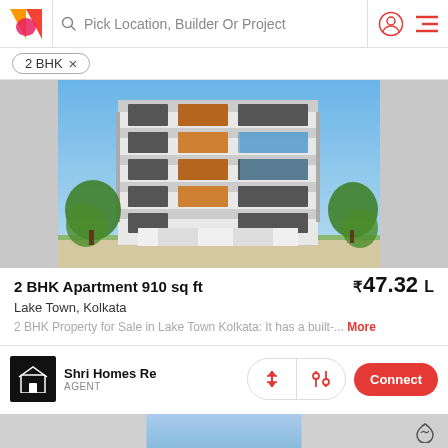Pick Location, Builder Or Project
2 BHK ×
[Figure (photo): Multi-storey residential apartment building with white, orange/wood and grey facade, trees in front, blue sky background]
2 BHK Apartment 910 sq ft
₹47.32 L
Lake Town, Kolkata
2 BHK Property for Sale in Lake Town Kolkata: It has a built-... More
Shri Homes Re
AGENT
Connect